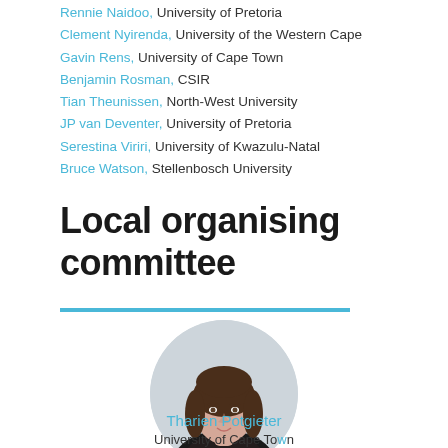Rennie Naidoo, University of Pretoria
Clement Nyirenda, University of the Western Cape
Gavin Rens, University of Cape Town
Benjamin Rosman, CSIR
Tian Theunissen, North-West University
JP van Deventer, University of Pretoria
Serestina Viriri, University of Kwazulu-Natal
Bruce Watson, Stellenbosch University
Local organising committee
[Figure (photo): Circular portrait photo of Tharien Potgieter]
Tharien Potgieter
University of Cape Town